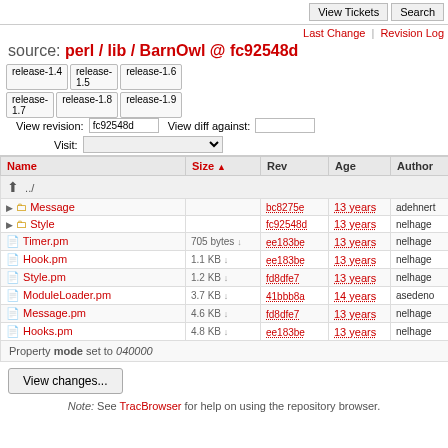View Tickets | Search
Last Change | Revision Log
source: perl / lib / BarnOwl @ fc92548d
release-1.4 release-1.5 release-1.6 release-1.7 release-1.8 release-1.9 | View revision: fc92548d | View diff against: | Visit:
| Name | Size | Rev | Age | Author | Last |
| --- | --- | --- | --- | --- | --- |
| ../ |  |  |  |  |  |
| Message |  | bc8275e | 13 years | adehnert | Fix re |
| Style |  | fc92548d | 13 years | nelhage | Repla |
| Timer.pm | 705 bytes | ee183be | 13 years | nelhage | Break |
| Hook.pm | 1.1 KB | ee183be | 13 years | nelhage | Break |
| Style.pm | 1.2 KB | fd8dfe7 | 13 years | nelhage | Load |
| ModuleLoader.pm | 3.7 KB | 41bbb8a | 14 years | asedeno | Last c |
| Message.pm | 4.6 KB | fd8dfe7 | 13 years | nelhage | Load |
| Hooks.pm | 4.8 KB | ee183be | 13 years | nelhage | Break |
Property mode set to 040000
View changes...
Note: See TracBrowser for help on using the repository browser.